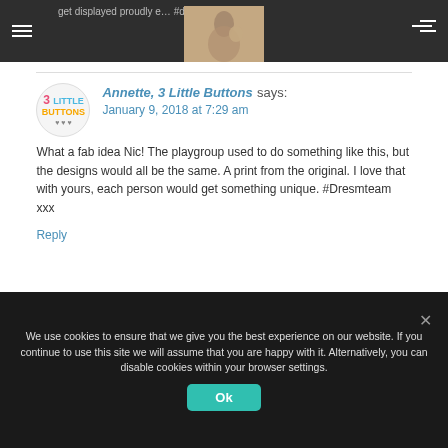get displayed proudly e… #dreamteam
Reply
Annette, 3 Little Buttons says:
January 9, 2018 at 7:29 am
What a fab idea Nic! The playgroup used to do something like this, but the designs would all be the same. A print from the original. I love that with yours, each person would get something unique. #Dresmteam xxx
Reply
We use cookies to ensure that we give you the best experience on our website. If you continue to use this site we will assume that you are happy with it. Alternatively, you can disable cookies within your browser settings.